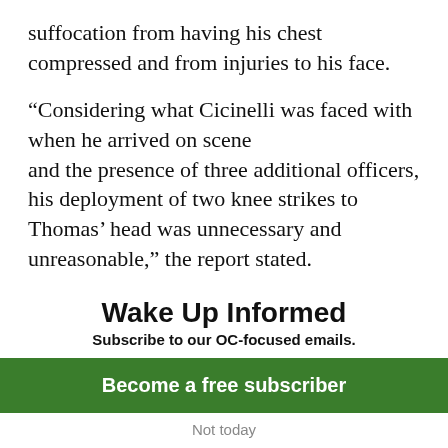suffocation from having his chest compressed and from injuries to his face.
“Considering what Cicinelli was faced with when he arrived on scene and the presence of three additional officers, his deployment of two knee strikes to Thomas’ head was unnecessary and unreasonable,” the report stated.
Cicinelli was justified in trying to use the
Wake Up Informed
Subscribe to our OC-focused emails.
Become a free subscriber
Not today